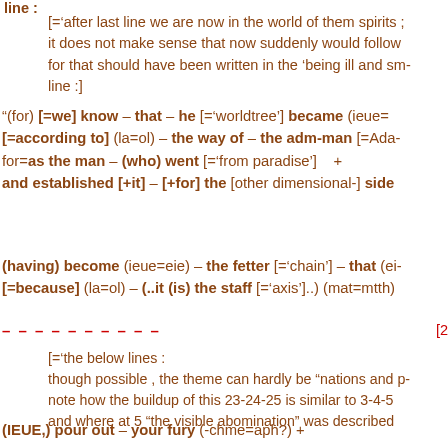line :
[='after last line we are now in the world of them spirits ; it does not make sense that now suddenly would follow for that should have been written in the 'being ill and sm- line :]
"(for) [=we] know – that – he [='worldtree'] became (ieue= [=according to] (la=ol) – the way of – the adm-man [=Ada- for=as the man – (who) went [='from paradise'] + and established [+it] – [+for] the [other dimensional-] side
(having) become (ieue=eie) – the fetter [='chain'] – that (ei- [=because] (la=ol) – (..it (is) the staff [='axis']..) (mat=mtth)
– – – – – – – – – –   [2
[='the below lines : though possible , the theme can hardly be "nations and p- note how the buildup of this 23-24-25 is similar to 3-4-5 and where at 5 "the visible abomination" was described
(IEUE,) pour out – your fury (-chme=aph?) +